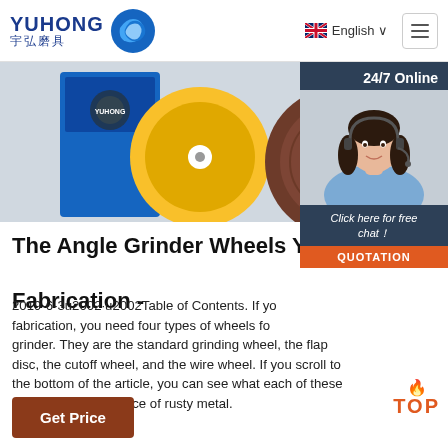YUHONG 宇弘磨具 — English
[Figure (photo): Banner image showing abrasive grinding wheels/discs — blue packaging, yellow disc, and a large brown grinding wheel]
[Figure (photo): 24/7 Online chat popup with a smiling female customer service representative wearing a headset, with 'Click here for free chat!' text and QUOTATION button]
The Angle Grinder Wheels You Need for Metal Fabrication -
2019-6-3u2002·u2002Table of Contents. If you work in metal fabrication, you need four types of wheels for your angle grinder. They are the standard grinding wheel, the flap disc, the cutoff wheel, and the wire wheel. If you scroll to the bottom of the article, you can see what each of these wheels does to a piece of rusty metal.
Get Price